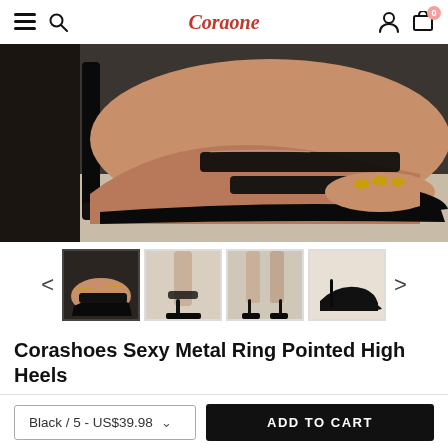Coraone — navigation header with menu, search, account, cart (0)
[Figure (photo): Close-up photo of a woman's foot wearing a black patent leather pointed-toe high heel mule sandal with two straps, against a blurred background.]
[Figure (photo): Thumbnail carousel showing four views of black high-heeled sandals with metal ring ankle detail. Navigation arrows on left and right.]
Corashoes Sexy Metal Ring Pointed High Heels
Black / 5 - US$39.98  ADD TO CART